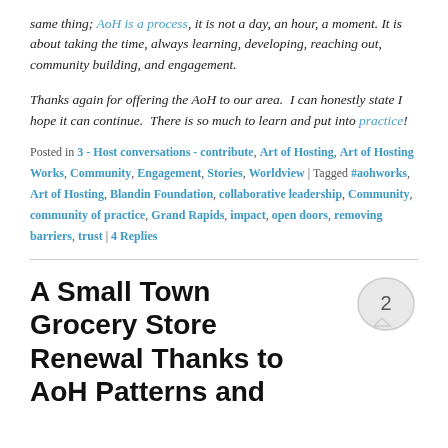same thing; AoH is a process, it is not a day, an hour, a moment. It is about taking the time, always learning, developing, reaching out, community building, and engagement.
Thanks again for offering the AoH to our area.  I can honestly state I hope it can continue.  There is so much to learn and put into practice!
Posted in 3 - Host conversations - contribute, Art of Hosting, Art of Hosting Works, Community, Engagement, Stories, Worldview | Tagged #aohworks, Art of Hosting, Blandin Foundation, collaborative leadership, Community, community of practice, Grand Rapids, impact, open doors, removing barriers, trust | 4 Replies
A Small Town Grocery Store Renewal Thanks to AoH Patterns and